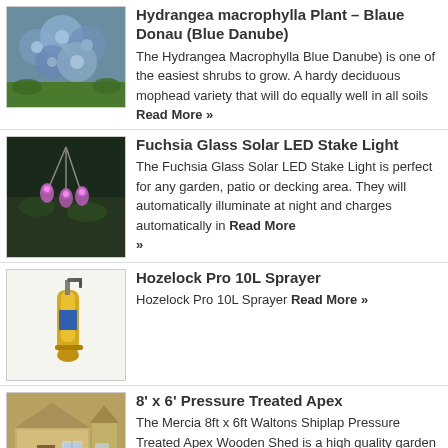[Figure (photo): Hydrangea macrophylla blue flowers close-up]
Hydrangea macrophylla Plant – Blaue Donau (Blue Danube)
The Hydrangea Macrophylla Blue Danube) is one of the easiest shrubs to grow. A hardy deciduous mophead variety that will do equally well in all soils Read More »
[Figure (photo): Fuchsia Glass Solar LED Stake Light in garden at night]
Fuchsia Glass Solar LED Stake Light
The Fuchsia Glass Solar LED Stake Light is perfect for any garden, patio or decking area. They will automatically illuminate at night and charges automatically in Read More »
[Figure (photo): Hozelock Pro 10L Sprayer product image]
Hozelock Pro 10L Sprayer
Hozelock Pro 10L Sprayer Read More »
[Figure (photo): 8x6 Pressure Treated Apex wooden shed exterior]
8' x 6' Pressure Treated Apex
The Mercia 8ft x 6ft Waltons Shiplap Pressure Treated Apex Wooden Shed is a high quality garden building that provides